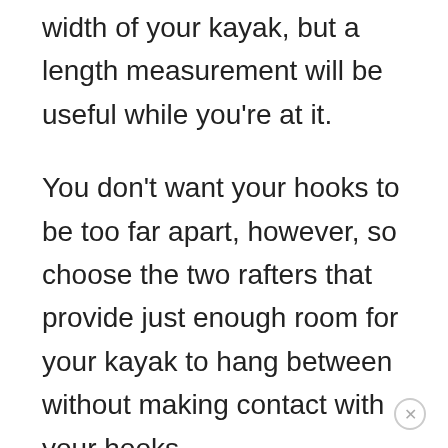width of your kayak, but a length measurement will be useful while you're at it.
You don't want your hooks to be too far apart, however, so choose the two rafters that provide just enough room for your kayak to hang between without making contact with your hooks.
From there, use the same rule as we mentioned above with wall-mounted storage.